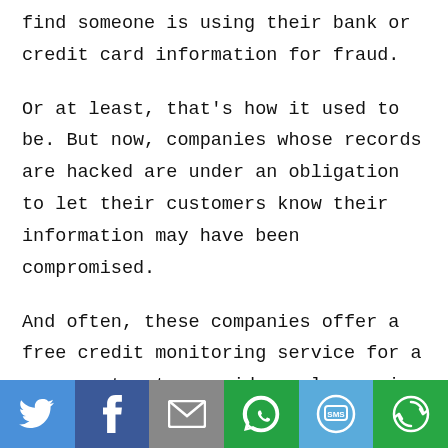find someone is using their bank or credit card information for fraud.
Or at least, that's how it used to be. But now, companies whose records are hacked are under an obligation to let their customers know their information may have been compromised.
And often, these companies offer a free credit monitoring service for a year or two to provide early warning of any fraudulent use of
[Figure (infographic): Social sharing bar with six buttons: Twitter (blue bird icon), Facebook (dark blue f icon), Email (grey envelope icon), WhatsApp (green phone icon), SMS (blue SMS bubble icon), More (green circular arrow icon)]